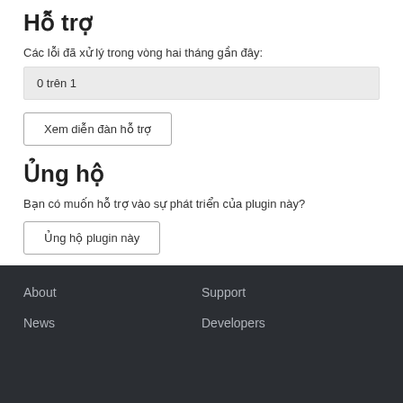Hỗ trợ
Các lỗi đã xử lý trong vòng hai tháng gần đây:
0 trên 1
Xem diễn đàn hỗ trợ
Ủng hộ
Bạn có muốn hỗ trợ vào sự phát triển của plugin này?
Ủng hộ plugin này
About  Support  News  Developers